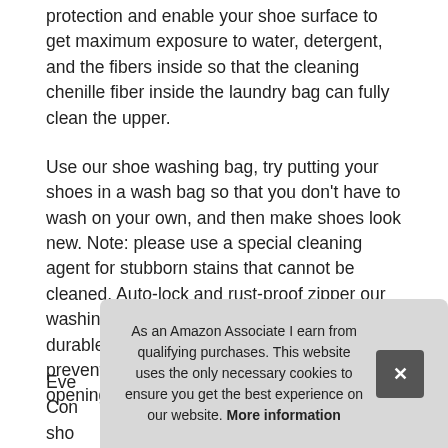protection and enable your shoe surface to get maximum exposure to water, detergent, and the fibers inside so that the cleaning chenille fiber inside the laundry bag can fully clean the upper.
Use our shoe washing bag, try putting your shoes in a wash bag so that you don't have to wash on your own, and then make shoes look new. Note: please use a special cleaning agent for stubborn stains that cannot be cleaned. Auto-lock and rust-proof zipper our washing bag for shoes has a high-quality durable zipper that won't rust and effectively prevents the sneaker wash bags from opening at runtime.
More information
Eve Con sho
As an Amazon Associate I earn from qualifying purchases. This website uses the only necessary cookies to ensure you get the best experience on our website. More information